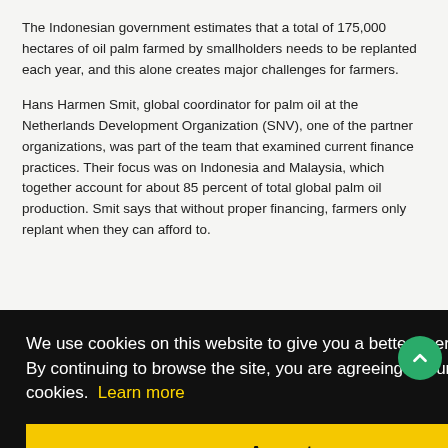The Indonesian government estimates that a total of 175,000 hectares of oil palm farmed by smallholders needs to be replanted each year, and this alone creates major challenges for farmers.
Hans Harmen Smit, global coordinator for palm oil at the Netherlands Development Organization (SNV), one of the partner organizations, was part of the team that examined current finance practices. Their focus was on Indonesia and Malaysia, which together account for about 85 percent of total global palm oil production. Smit says that without proper financing, farmers only replant when they can afford to.
[Figure (screenshot): Cookie consent overlay banner on a website. Black background with white text reading 'We use cookies on this website to give you a better user experience. By continuing to browse the site, you are agreeing to our use of cookies. Learn more' and a yellow Accept button. A green scroll-to-top arrow button appears on the right side.]
...least for ...ey have ...with ...$290 to ...the ...replant top
the only crops available to them, which are often low-quality varieties